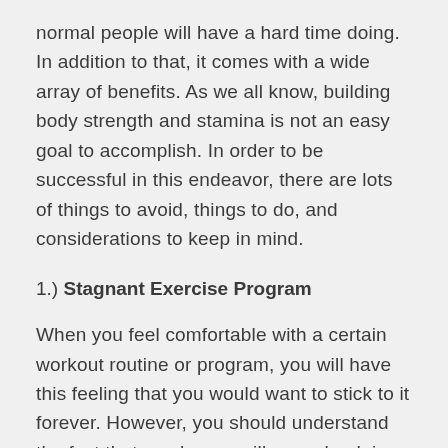normal people will have a hard time doing. In addition to that, it comes with a wide array of benefits. As we all know, building body strength and stamina is not an easy goal to accomplish. In order to be successful in this endeavor, there are lots of things to avoid, things to do, and considerations to keep in mind.
1.) Stagnant Exercise Program
When you feel comfortable with a certain workout routine or program, you will have this feeling that you would want to stick to it forever. However, you should understand the fact that no change will come by doing the same things over and over again. Regardless of how great a program is, it will not help you to achieve the strong body that you want if you have been doing it for more than three months. Incorporate